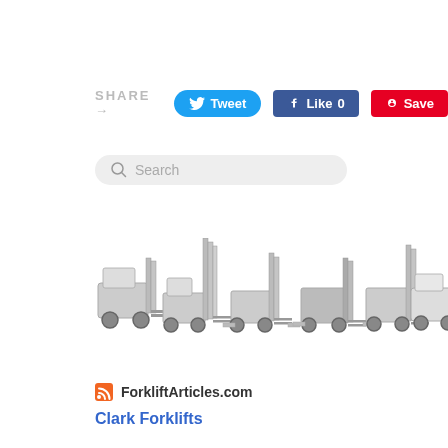SHARE →  Tweet  Like 0  Save
[Figure (screenshot): Search bar with magnifying glass icon and placeholder text 'Search']
[Figure (photo): Six different forklift models shown side by side in grayscale, various types including counterbalance, reach truck, and order picker forklifts]
ForkliftArticles.com
Clark Forklifts